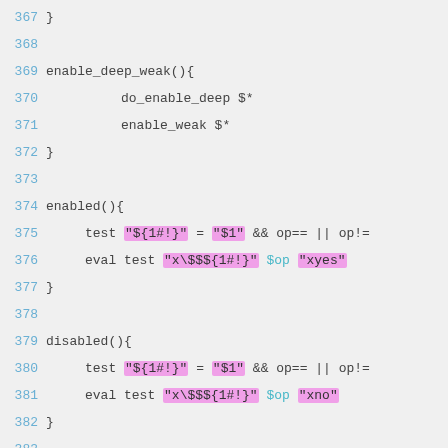367 }
368
369 enable_deep_weak(){
370     do_enable_deep $*
371     enable_weak $*
372 }
373
374 enabled(){
375     test "${1#!}" = "$1" && op== || op!=
376     eval test "x\$$${1#!}" $op "xyes"
377 }
378
379 disabled(){
380     test "${1#!}" = "$1" && op== || op!=
381     eval test "x\$$${1#!}" $op "xno"
382 }
383
384 enabled_all(){
385     for opt; do
386         enabled $opt || return 1
387     done
388 }
389
390 disabled_all(){
391     for opt; do